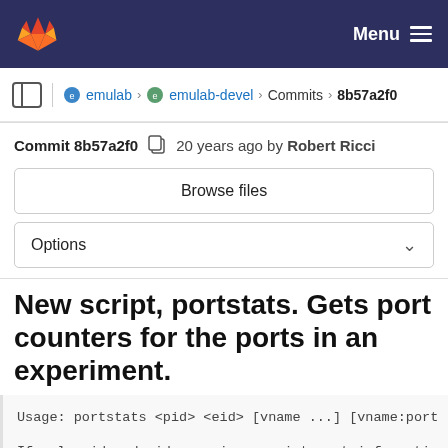Menu
emulab > emulab-devel > Commits > 8b57a2f0
Commit 8b57a2f0  20 years ago by Robert Ricci
Browse files
Options
New script, portstats. Gets port counters for the ports in an experiment.
Usage: portstats <pid> <eid> [vname ...] [vname:port
If only pid and eid are given, prints out informatio
ports in the experiment. Otherwise, output is limite
nodes and/or ports given.